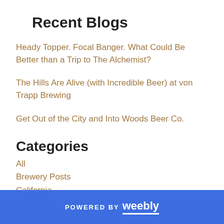Recent Blogs
Heady Topper. Focal Banger. What Could Be Better than a Trip to The Alchemist?
The Hills Are Alive (with Incredible Beer) at von Trapp Brewing
Get Out of the City and Into Woods Beer Co.
Categories
All
Brewery Posts
California
DMV
Misc
New England
POWERED BY weebly